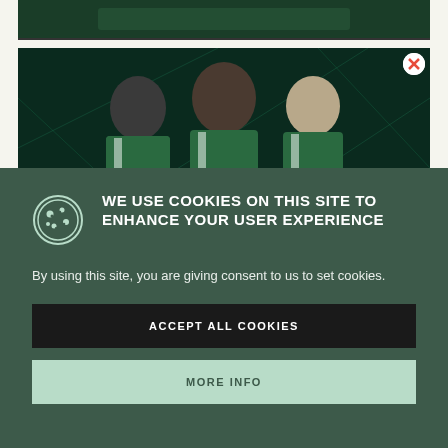[Figure (photo): Top banner image strip - dark green football/sports themed]
[Figure (photo): Advertisement image showing three football players in green Puma jerseys against a dark teal geometric background, with an X close button in the top right corner]
WE USE COOKIES ON THIS SITE TO ENHANCE YOUR USER EXPERIENCE
By using this site, you are giving consent to us to set cookies.
ACCEPT ALL COOKIES
MORE INFO